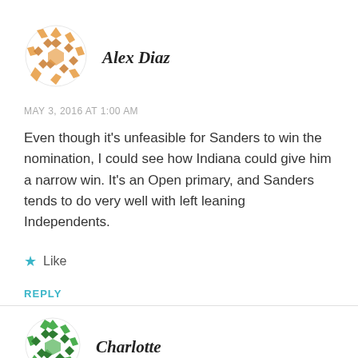[Figure (illustration): Circular avatar icon with orange/gold geometric diamond pattern on white background]
Alex Diaz
MAY 3, 2016 AT 1:00 AM
Even though it's unfeasible for Sanders to win the nomination, I could see how Indiana could give him a narrow win. It's an Open primary, and Sanders tends to do very well with left leaning Independents.
★ Like
REPLY
[Figure (illustration): Circular avatar icon with green geometric diamond pattern on white background]
Charlotte